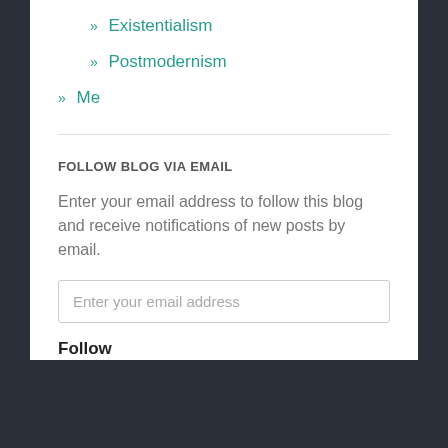» Existentialism
» Postmodernism
» Me
FOLLOW BLOG VIA EMAIL
Enter your email address to follow this blog and receive notifications of new posts by email.
Enter your email address
Follow
Join 350 other followers